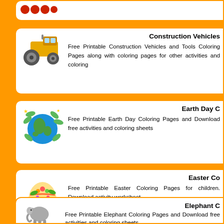[Figure (illustration): Partial top card with red/orange circular icons]
Construction Vehicles
Free Printable Construction Vehicles and Tools Coloring Pages along with coloring pages for other activities and coloring
[Figure (illustration): Road roller construction vehicle illustration in yellow/grey]
Earth Day C
Free Printable Earth Day Coloring Pages and Download free activities and coloring sheets
[Figure (illustration): Earth globe with green leaves and stars decoration]
Easter Co
Free Printable Easter Coloring Pages for children. Download activity worksheet.
[Figure (illustration): Decorated Easter egg with floral patterns in yellow, orange, green, pink]
Elephant C
Free Printable Elephant Coloring Pages and Download free activities and coloring sheets
[Figure (illustration): Grey elephant illustration (partial at bottom of page)]